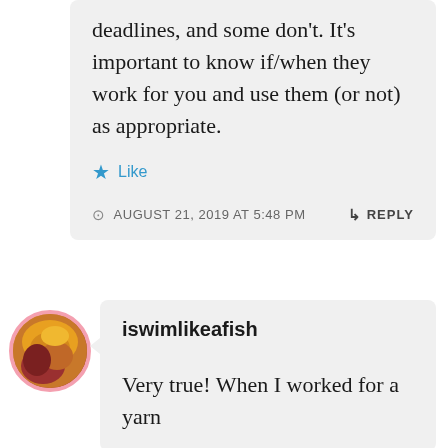deadlines, and some don't. It's important to know if/when they work for you and use them (or not) as appropriate.
★ Like
AUGUST 21, 2019 AT 5:48 PM
↳ REPLY
[Figure (photo): Circular avatar photo of a person wearing an orange/mustard colored scarf or wrap, with a pink circular border]
iswimlikeafish
Very true! When I worked for a yarn